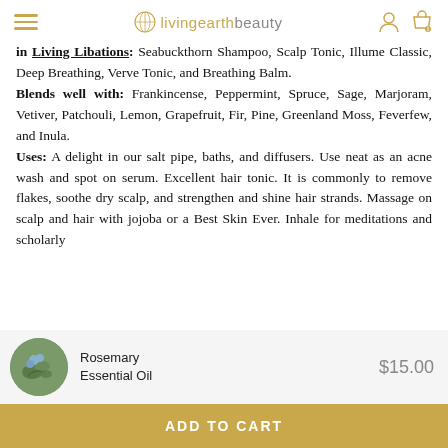livingearthbeauty
in Living Libations: Seabuckthorn Shampoo, Scalp Tonic, Illume Classic, Deep Breathing, Verve Tonic, and Breathing Balm. Blends well with: Frankincense, Peppermint, Spruce, Sage, Marjoram, Vetiver, Patchouli, Lemon, Grapefruit, Fir, Pine, Greenland Moss, Feverfew, and Inula. Uses: A delight in our salt pipe, baths, and diffusers. Use neat as an acne wash and spot on serum. Excellent hair tonic. It is commonly to remove flakes, soothe dry scalp, and strengthen and shine hair strands. Massage on scalp and hair with jojoba or a Best Skin Ever. Inhale for meditations and scholarly
Rosemary Essential Oil
$15.00
ADD TO CART